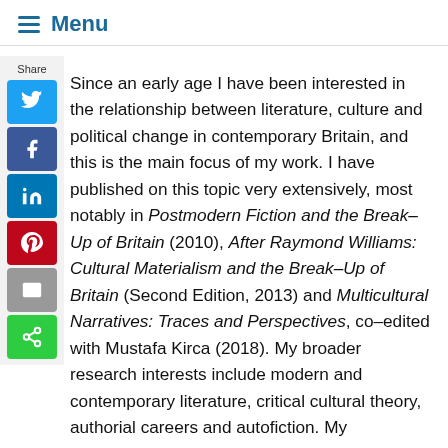≡ Menu
[Figure (infographic): Share sidebar with Twitter, Facebook, LinkedIn, Pinterest, Email, and general Share buttons in a vertical stack on the left side of the page.]
Since an early age I have been interested in the relationship between literature, culture and political change in contemporary Britain, and this is the main focus of my work. I have published on this topic very extensively, most notably in Postmodern Fiction and the Break–Up of Britain (2010), After Raymond Williams: Cultural Materialism and the Break–Up of Britain (Second Edition, 2013) and Multicultural Narratives: Traces and Perspectives, co–edited with Mustafa Kirca (2018). My broader research interests include modern and contemporary literature, critical cultural theory, authorial careers and autofiction. My monograph about literary careers entitled The Late-Career Novelist was published by Bloomsbury in 2017